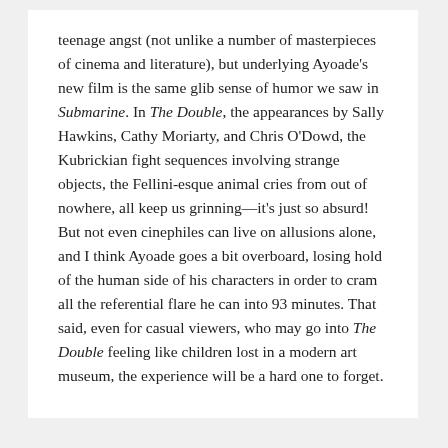teenage angst (not unlike a number of masterpieces of cinema and literature), but underlying Ayoade's new film is the same glib sense of humor we saw in Submarine. In The Double, the appearances by Sally Hawkins, Cathy Moriarty, and Chris O'Dowd, the Kubrickian fight sequences involving strange objects, the Fellini-esque animal cries from out of nowhere, all keep us grinning—it's just so absurd! But not even cinephiles can live on allusions alone, and I think Ayoade goes a bit overboard, losing hold of the human side of his characters in order to cram all the referential flare he can into 93 minutes. That said, even for casual viewers, who may go into The Double feeling like children lost in a modern art museum, the experience will be a hard one to forget.